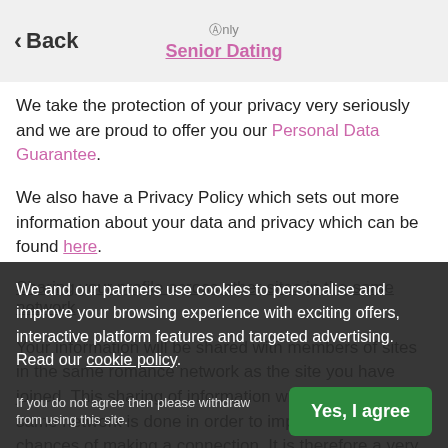Only Senior Dating — Back
We take the protection of your privacy very seriously and we are proud to offer you our Personal Data Guarantee.
We also have a Privacy Policy which sets out more information about your data and privacy which can be found here.
Sharing your profile across other sites in the same network
Your information will be shared with members of sites in the same romance network as the site you have joined. This sharing of information with sites in the same network is done in order to improve your chances of making a connection. It is therefore a very important part of the Service that your profile can be accessed via the other sites in the same network.
We and our partners use cookies to personalise and improve your browsing experience with exciting offers, interactive platform features and targeted advertising. Read our cookie policy.
If you do not agree then please withdraw from using this site.
see the profiles of members who have signed up to one of our other sites in the same network. This increases the number of members you can see and who can see you than would otherwise be the